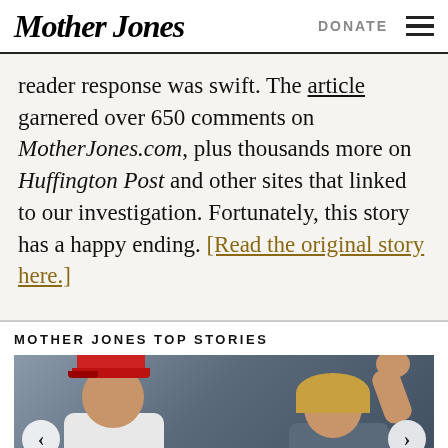Mother Jones | DONATE
reader response was swift. The article garnered over 650 comments on MotherJones.com, plus thousands more on Huffington Post and other sites that linked to our investigation. Fortunately, this story has a happy ending. [Read the original story here.]
MOTHER JONES TOP STORIES
[Figure (photo): Two people standing together outdoors: a man on the left wearing a red cap and white polo shirt, and a woman on the right waving with her right hand, with navigation arrows overlaid on the image.]